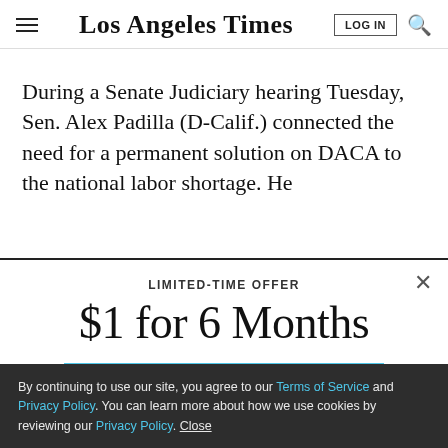Los Angeles Times
During a Senate Judiciary hearing Tuesday, Sen. Alex Padilla (D-Calif.) connected the need for a permanent solution on DACA to the national labor shortage. He
LIMITED-TIME OFFER
$1 for 6 Months
SUBSCRIBE NOW
By continuing to use our site, you agree to our Terms of Service and Privacy Policy. You can learn more about how we use cookies by reviewing our Privacy Policy. Close